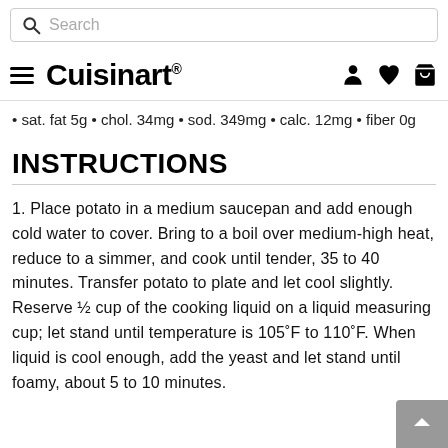Search
Cuisinart® (hamburger menu, user icon, heart icon, cart icon)
• sat. fat 5g • chol. 34mg • sod. 349mg • calc. 12mg • fiber 0g
INSTRUCTIONS
1. Place potato in a medium saucepan and add enough cold water to cover. Bring to a boil over medium-high heat, reduce to a simmer, and cook until tender, 35 to 40 minutes. Transfer potato to plate and let cool slightly. Reserve ½ cup of the cooking liquid on a liquid measuring cup; let stand until temperature is 105°F to 110°F. When liquid is cool enough, add the yeast and let stand until foamy, about 5 to 10 minutes.